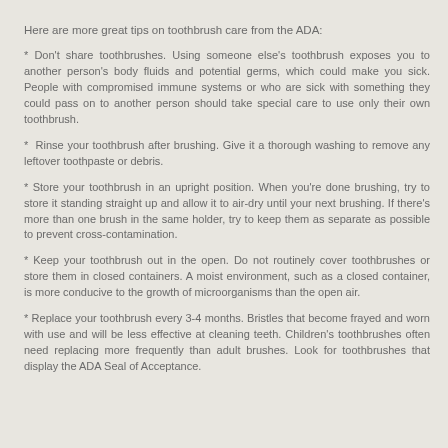Here are more great tips on toothbrush care from the ADA:
* Don't share toothbrushes. Using someone else's toothbrush exposes you to another person's body fluids and potential germs, which could make you sick. People with compromised immune systems or who are sick with something they could pass on to another person should take special care to use only their own toothbrush.
* Rinse your toothbrush after brushing. Give it a thorough washing to remove any leftover toothpaste or debris.
* Store your toothbrush in an upright position. When you're done brushing, try to store it standing straight up and allow it to air-dry until your next brushing. If there's more than one brush in the same holder, try to keep them as separate as possible to prevent cross-contamination.
* Keep your toothbrush out in the open. Do not routinely cover toothbrushes or store them in closed containers. A moist environment, such as a closed container, is more conducive to the growth of microorganisms than the open air.
* Replace your toothbrush every 3-4 months. Bristles that become frayed and worn with use and will be less effective at cleaning teeth. Children's toothbrushes often need replacing more frequently than adult brushes. Look for toothbrushes that display the ADA Seal of Acceptance.